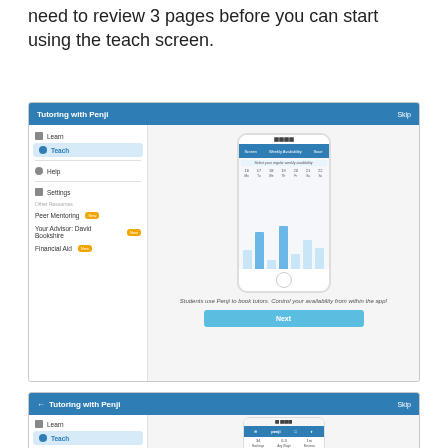need to review 3 pages before you can start using the teach screen.
[Figure (screenshot): App screenshot showing 'Tutoring with Penji' onboarding screen with sidebar navigation (Learn, Teach highlighted, Help, Settings, Other Resources section with Peer Mentoring, Your Advisor David Bookshire, Financial Aid — all with 'New' badges) and main area showing a phone mockup with Weekly Availability calendar/bar chart, caption 'Students use Penji to book tutors. Control your availability from within the app!' and a blue Next button.]
[Figure (screenshot): Second 'Tutoring with Penji' onboarding screen (partially visible) with back arrow, sidebar showing Learn/Teach/Help, and phone mockup showing Penji app header with stats: 34 Bookings, 6.3 Avg Wage, 1m Reviews.]